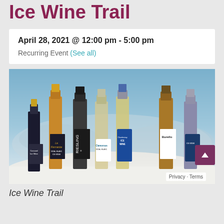Ice Wine Trail
April 28, 2021 @ 12:00 pm - 5:00 pm
Recurring Event (See all)
[Figure (photo): Seven ice wine bottles standing in snow, including labels for Concord Ice Wine, Ferrante Vidal Blanc Ice Wine, Riesling, Clamorous, Chardonnay Ice Wine, Burello, and another bottle, photographed outdoors against a snowy background with bare trees.]
Ice Wine Trail